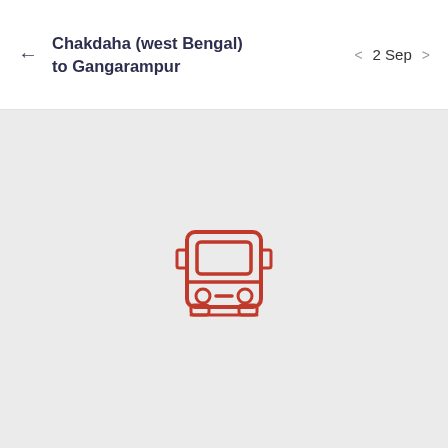← Chakdaha (west Bengal) to Gangarampur   < 2 Sep >
[Figure (illustration): A red outline bus icon (front view) centered on a light gray background, indicating no search results found for the route.]